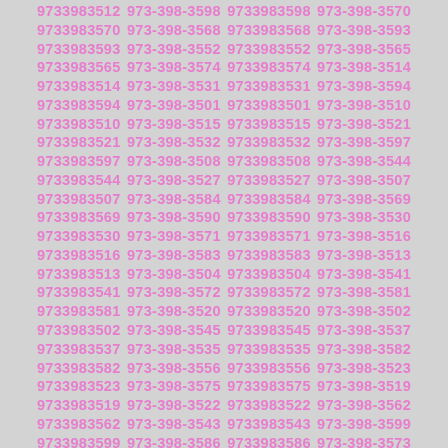9733983512 973-398-3598 9733983598 973-398-3570 9733983570 973-398-3568 9733983568 973-398-3593 9733983593 973-398-3552 9733983552 973-398-3565 9733983565 973-398-3574 9733983574 973-398-3514 9733983514 973-398-3531 9733983531 973-398-3594 9733983594 973-398-3501 9733983501 973-398-3510 9733983510 973-398-3515 9733983515 973-398-3521 9733983521 973-398-3532 9733983532 973-398-3597 9733983597 973-398-3508 9733983508 973-398-3544 9733983544 973-398-3527 9733983527 973-398-3507 9733983507 973-398-3584 9733983584 973-398-3569 9733983569 973-398-3590 9733983590 973-398-3530 9733983530 973-398-3571 9733983571 973-398-3516 9733983516 973-398-3583 9733983583 973-398-3513 9733983513 973-398-3504 9733983504 973-398-3541 9733983541 973-398-3572 9733983572 973-398-3581 9733983581 973-398-3520 9733983520 973-398-3502 9733983502 973-398-3545 9733983545 973-398-3537 9733983537 973-398-3535 9733983535 973-398-3582 9733983582 973-398-3556 9733983556 973-398-3523 9733983523 973-398-3575 9733983575 973-398-3519 9733983519 973-398-3522 9733983522 973-398-3562 9733983562 973-398-3543 9733983543 973-398-3599 9733983599 973-398-3586 9733983586 973-398-3573 9733983573 973-398-3558 9733983558 973-398-3555